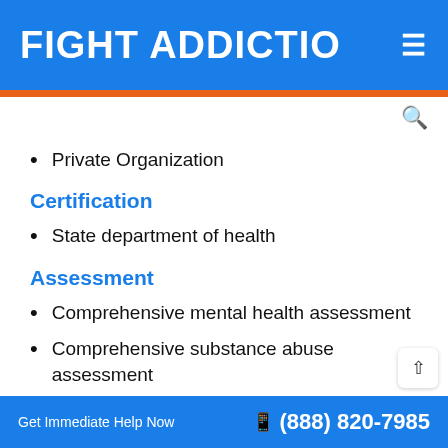FIGHT ADDICTIO ≡
Private Organization
Certification
State department of health
Assessment
Comprehensive mental health assessment
Comprehensive substance abuse assessment
Get Immediate Help Now  📱 (888) 820-7985